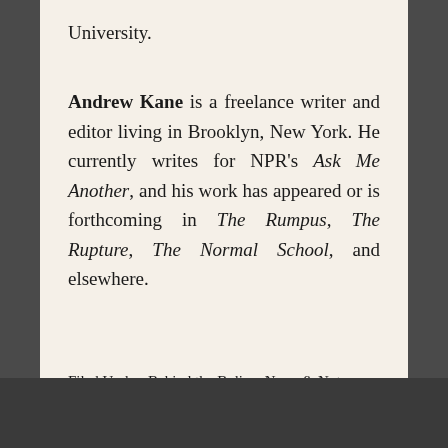University.
Andrew Kane is a freelance writer and editor living in Brooklyn, New York. He currently writes for NPR's Ask Me Another, and his work has appeared or is forthcoming in The Rumpus, The Rupture, The Normal School, and elsewhere.
Filed Under: Behind the Byline, News & Notes
Tagged With: Andrew Kane, Ben Miller